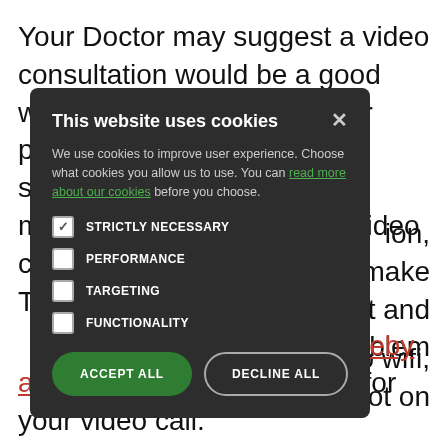Your Doctor may suggest a video consultation would be a good way to support you with your problem. If they do, they will send you a link in a text message or email to join a video consultation. T… safe.
B… ion, make s… it and R… problem f…
[Figure (screenshot): Cookie consent modal dialog with dark background overlay. Title: 'This website uses cookies'. Body text: 'We use cookies to improve user experience. Choose what cookies you allow us to use. You can read more about our cookies before you choose.' Four checkbox options: STRICTLY NECESSARY (checked), PERFORMANCE (unchecked), TARGETING (unchecked), FUNCTIONALITY (unchecked). Two buttons: ACCEPT ALL (green) and DECLINE ALL (outlined).]
C… ected to wifi, o… re not on m…
Y… the whereby app but this is not essential for your video call.